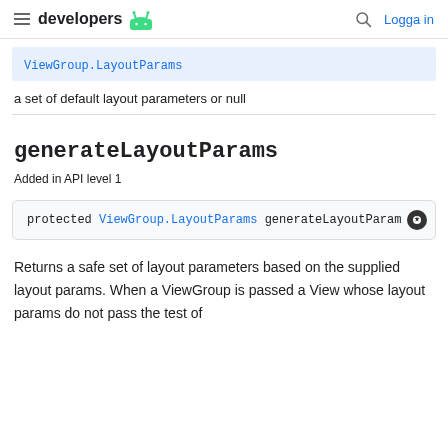developers (Android logo) | Search | Logga in
ViewGroup.LayoutParams
a set of default layout parameters or null
generateLayoutParams
Added in API level 1
protected ViewGroup.LayoutParams generateLayoutParam
Returns a safe set of layout parameters based on the supplied layout params. When a ViewGroup is passed a View whose layout params do not pass the test of